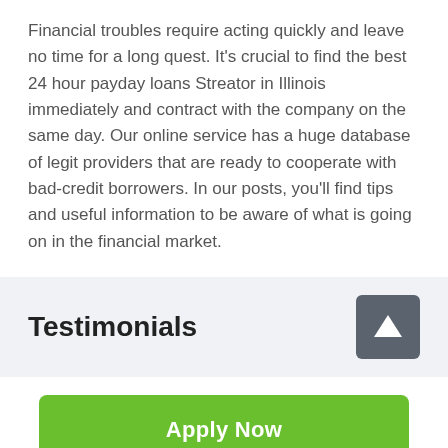Financial troubles require acting quickly and leave no time for a long quest. It's crucial to find the best 24 hour payday loans Streator in Illinois immediately and contract with the company on the same day. Our online service has a huge database of legit providers that are ready to cooperate with bad-credit borrowers. In our posts, you'll find tips and useful information to be aware of what is going on in the financial market.
Testimonials
[Figure (other): Up arrow button icon — white upward arrow on dark grey square background]
Apply Now
Applying does NOT affect your credit score! No credit check to apply.